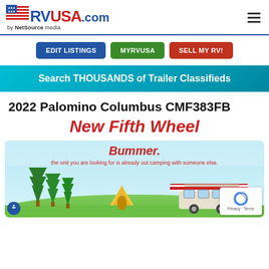RVUSA.com by NetSource media
EDIT LISTINGS
MYRVUSA
SELL MY RV!
Search THOUSANDS of Trailer Classifieds
2022 Palomino Columbus CMF383FB
New Fifth Wheel
[Figure (illustration): Bummer graphic showing a camping scene with trees, a tent, and an RV trailer on a light blue background with text 'Bummer. the unit you are looking for is already out camping with someone else.']
Bummer. the unit you are looking for is already out camping with someone else.